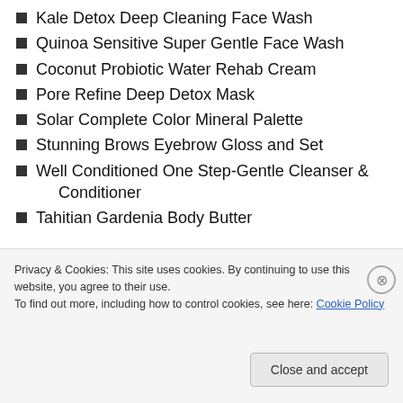Kale Detox Deep Cleaning Face Wash
Quinoa Sensitive Super Gentle Face Wash
Coconut Probiotic Water Rehab Cream
Pore Refine Deep Detox Mask
Solar Complete Color Mineral Palette
Stunning Brows Eyebrow Gloss and Set
Well Conditioned One Step-Gentle Cleanser & Conditioner
Tahitian Gardenia Body Butter
[Figure (photo): Partial image strip visible at bottom of page content area]
Privacy & Cookies: This site uses cookies. By continuing to use this website, you agree to their use.
To find out more, including how to control cookies, see here: Cookie Policy